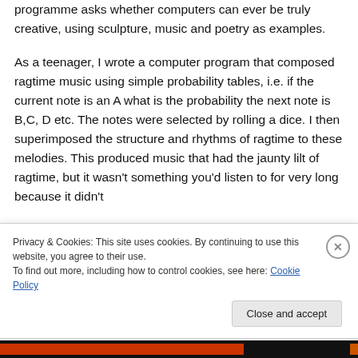programme asks whether computers can ever be truly creative, using sculpture, music and poetry as examples.

As a teenager, I wrote a computer program that composed ragtime music using simple probability tables, i.e. if the current note is an A what is the probability the next note is B,C, D etc. The notes were selected by rolling a dice. I then superimposed the structure and rhythms of ragtime to these melodies. This produced music that had the jaunty lilt of ragtime, but it wasn't something you'd listen to for very long because it didn't
Privacy & Cookies: This site uses cookies. By continuing to use this website, you agree to their use.
To find out more, including how to control cookies, see here: Cookie Policy
Close and accept